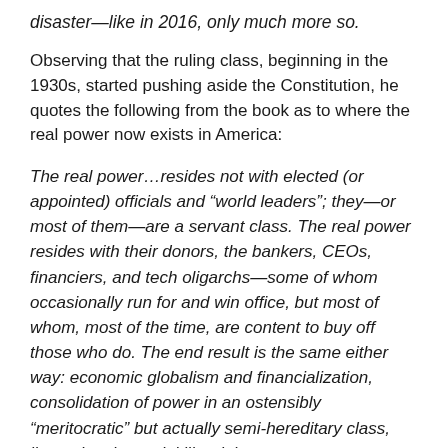disaster—like in 2016, only much more so.
Observing that the ruling class, beginning in the 1930s, started pushing aside the Constitution, he quotes the following from the book as to where the real power now exists in America:
The real power…resides not with elected (or appointed) officials and “world leaders”; they—or most of them—are a servant class. The real power resides with their donors, the bankers, CEOs, financiers, and tech oligarchs—some of whom occasionally run for and win office, but most of whom, most of the time, are content to buy off those who do. The end result is the same either way: economic globalism and financialization, consolidation of power in an ostensibly “meritocratic” but actually semi-hereditary class, livened up by social libertinism.